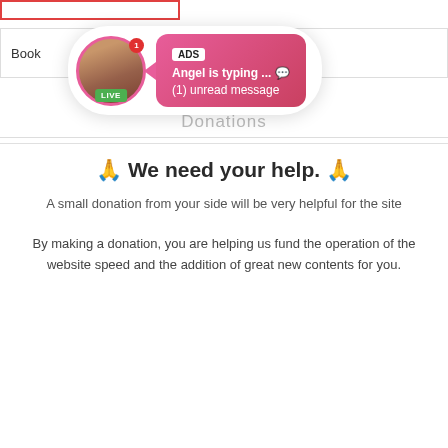[Figure (screenshot): Ad notification bubble with avatar showing LIVE badge, ADS label, text 'Angel is typing ... 💬' and '(1) unread message' on a pink-to-red gradient background]
Donations
🙏 We need your help. 🙏
A small donation from your side will be very helpful for the site
By making a donation, you are helping us fund the operation of the website speed and the addition of great new contents for you.